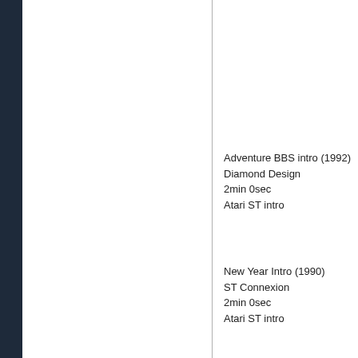Adventure BBS intro (1992)
Diamond Design
2min 0sec
Atari ST intro
New Year Intro (1990)
ST Connexion
2min 0sec
Atari ST intro